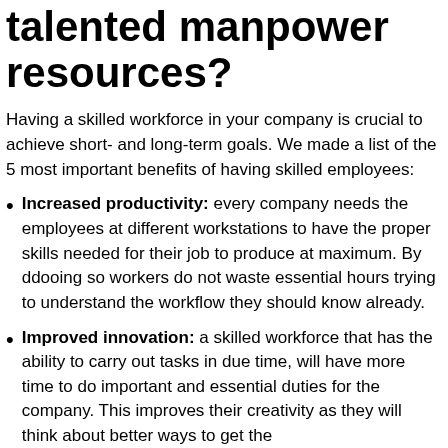talented manpower resources?
Having a skilled workforce in your company is crucial to achieve short- and long-term goals. We made a list of the 5 most important benefits of having skilled employees:
Increased productivity: every company needs the employees at different workstations to have the proper skills needed for their job to produce at maximum. By ddooing so workers do not waste essential hours trying to understand the workflow they should know already.
Improved innovation: a skilled workforce that has the ability to carry out tasks in due time, will have more time to do important and essential duties for the company. This improves their creativity as they will think about better ways to get the